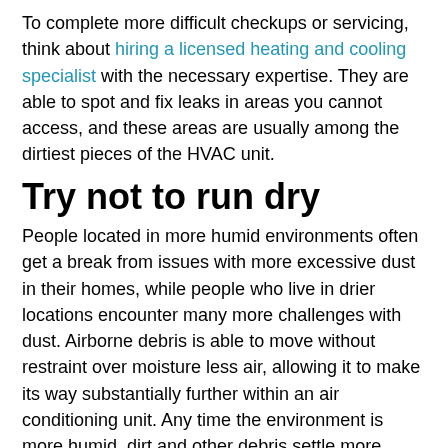To complete more difficult checkups or servicing, think about hiring a licensed heating and cooling specialist with the necessary expertise. They are able to spot and fix leaks in areas you cannot access, and these areas are usually among the dirtiest pieces of the HVAC unit.
Try not to run dry
People located in more humid environments often get a break from issues with more excessive dust in their homes, while people who live in drier locations encounter many more challenges with dust. Airborne debris is able to move without restraint over moisture less air, allowing it to make its way substantially further within an air conditioning unit. Any time the environment is more humid, dirt and other debris settle more quickly, leaving greater opportunities for it to get caught by the filters.
This isn't just an issue in less damp environments, but also throughout the more arid season of winter. And of course, if your HVAC unit has leaking ductwork attracting the drier wintry air out of the attic, you are likely forming particularly